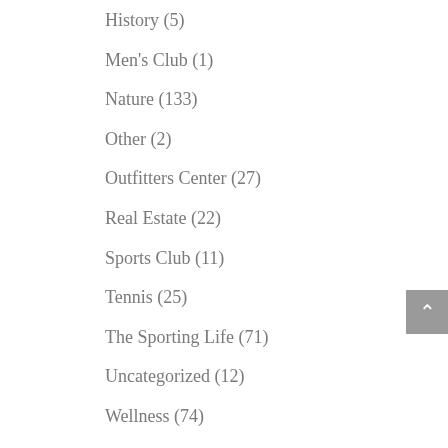History (5)
Men's Club (1)
Nature (133)
Other (2)
Outfitters Center (27)
Real Estate (22)
Sports Club (11)
Tennis (25)
The Sporting Life (71)
Uncategorized (12)
Wellness (74)
Wine Club (2)